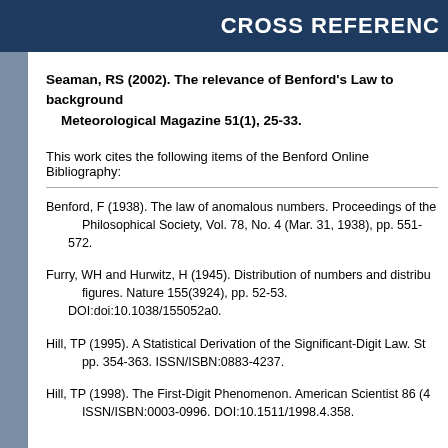CROSS REFERENCE
Seaman, RS (2002). The relevance of Benford's Law to background Meteorological Magazine 51(1), 25-33.
This work cites the following items of the Benford Online Bibliography:
Benford, F (1938). The law of anomalous numbers. Proceedings of the Philosophical Society, Vol. 78, No. 4 (Mar. 31, 1938), pp. 551-572.
Furry, WH and Hurwitz, H (1945). Distribution of numbers and distribution figures. Nature 155(3924), pp. 52-53. DOI:doi:10.1038/155052a0.
Hill, TP (1995). A Statistical Derivation of the Significant-Digit Law. pp. 354-363. ISSN/ISBN:0883-4237.
Hill, TP (1998). The First-Digit Phenomenon. American Scientist 86 (4). ISSN/ISBN:0003-0996. DOI:10.1511/1998.4.358.